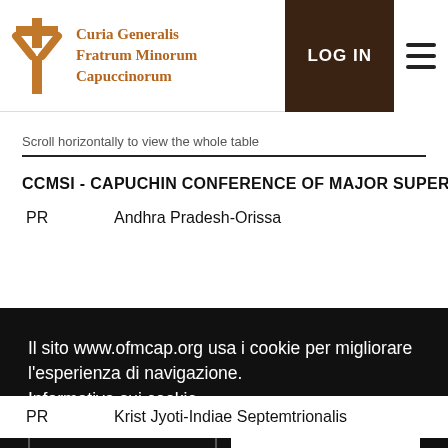Curia Generalis Fratrum Minorum Capuccinorum | LOG IN
Scroll horizontally to view the whole table
| CCMSI - CAPUCHIN CONFERENCE OF MAJOR SUPERI |  |
| --- | --- |
| PR | Andhra Pradesh-Orissa |
Il sito www.ofmcap.org usa i cookie per migliorare l'esperienza di navigazione.
Informativa sui cookie
Rifiuto | Accetto
Preferenze sui cookie:
✅Necessari | ✅Statistiche
| PR | Krist Jyoti-Indiae Septemtrionalis |